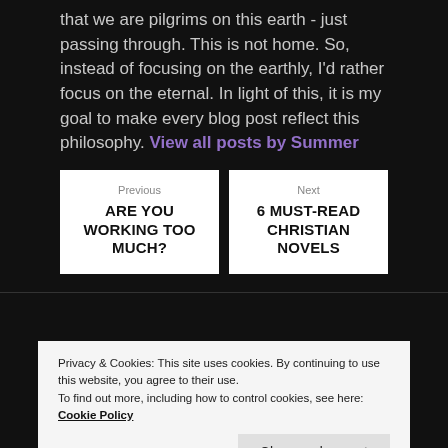that we are pilgrims on this earth - just passing through. This is not home. So, instead of focusing on the earthly, I'd rather focus on the eternal. In light of this, it is my goal to make every blog post reflect this philosophy. View all posts by Summer
Previous
ARE YOU WORKING TOO MUCH?
Next
6 MUST-READ CHRISTIAN NOVELS
Privacy & Cookies: This site uses cookies. By continuing to use this website, you agree to their use.
To find out more, including how to control cookies, see here: Cookie Policy
Close and accept